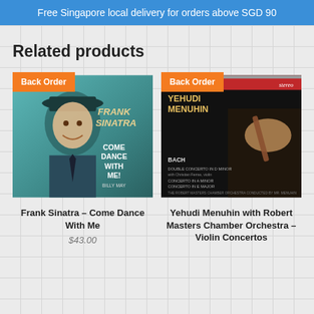Free Singapore local delivery for orders above SGD 90
Related products
[Figure (photo): Frank Sinatra Come Dance With Me album cover with Back Order badge]
Frank Sinatra – Come Dance With Me
$43.00
[Figure (photo): Yehudi Menuhin with Robert Masters Chamber Orchestra Violin Concertos album cover with Back Order badge]
Yehudi Menuhin with Robert Masters Chamber Orchestra – Violin Concertos